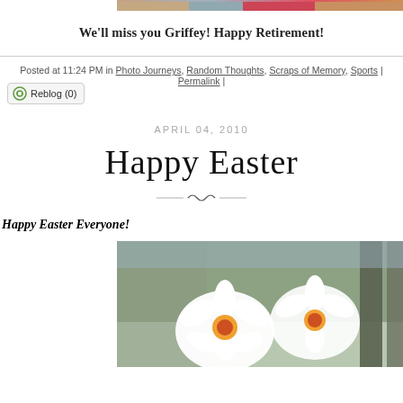[Figure (photo): Partial top banner photo of people]
We'll miss you Griffey! Happy Retirement!
Posted at 11:24 PM in Photo Journeys, Random Thoughts, Scraps of Memory, Sports | Permalink |
Reblog (0)
APRIL 04, 2010
Happy Easter
Happy Easter Everyone!
[Figure (photo): Photograph of white daffodil flowers with orange centers against a blurred green background]